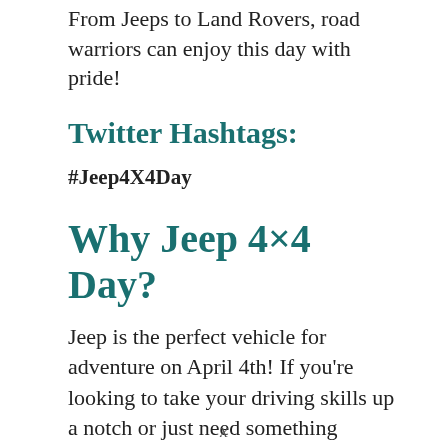From Jeeps to Land Rovers, road warriors can enjoy this day with pride!
Twitter Hashtags:
#Jeep4X4Day
Why Jeep 4×4 Day?
Jeep is the perfect vehicle for adventure on April 4th! If you're looking to take your driving skills up a notch or just need something reliable, then look no further than our selection of Jeeps. They are known not only as being
x